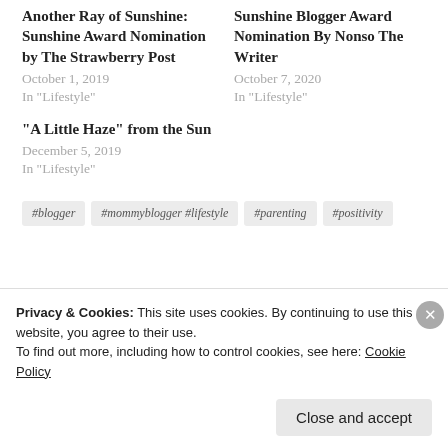Another Ray of Sunshine: Sunshine Award Nomination by The Strawberry Post
October 1, 2019
In "Lifestyle"
Sunshine Blogger Award Nomination By Nonso The Writer
October 7, 2020
In "Lifestyle"
“A Little Haze” from the Sun
December 5, 2019
In "Lifestyle"
#blogger
#mommyblogger #lifestyle
#parenting
#positivity
Privacy & Cookies: This site uses cookies. By continuing to use this website, you agree to their use.
To find out more, including how to control cookies, see here: Cookie Policy
Close and accept